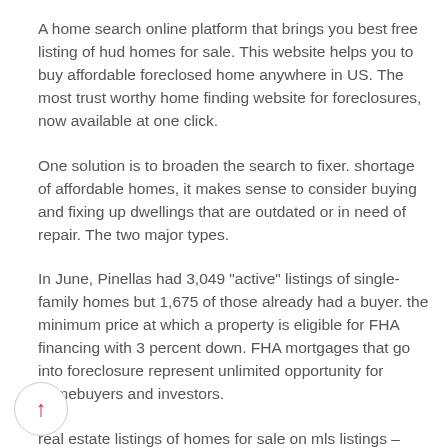A home search online platform that brings you best free listing of hud homes for sale. This website helps you to buy affordable foreclosed home anywhere in US. The most trust worthy home finding website for foreclosures, now available at one click.
One solution is to broaden the search to fixer. shortage of affordable homes, it makes sense to consider buying and fixing up dwellings that are outdated or in need of repair. The two major types.
In June, Pinellas had 3,049 "active" listings of single-family homes but 1,675 of those already had a buyer. the minimum price at which a property is eligible for FHA financing with 3 percent down. FHA mortgages that go into foreclosure represent unlimited opportunity for homebuyers and investors.
real estate listings of homes for sale on mls listings – multiple listing service provided by fha home loans.com
The FHA is especially known for selling HUD homes for less than the average sales price in a given area. FHA foreclosures